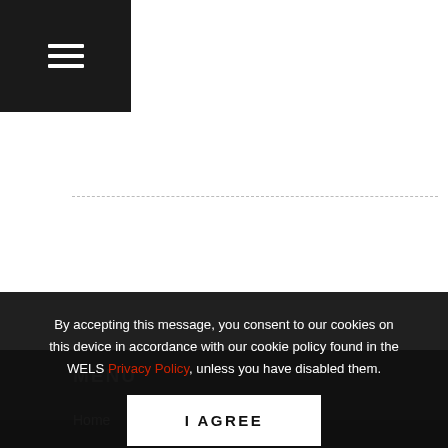[Figure (screenshot): Hamburger menu icon (three horizontal white lines) on black background in top-left corner]
MENU
Home
About WELS
News & Media
Serving You
By accepting this message, you consent to our cookies on this device in accordance with our cookie policy found in the WELS Privacy Policy, unless you have disabled them.
I AGREE